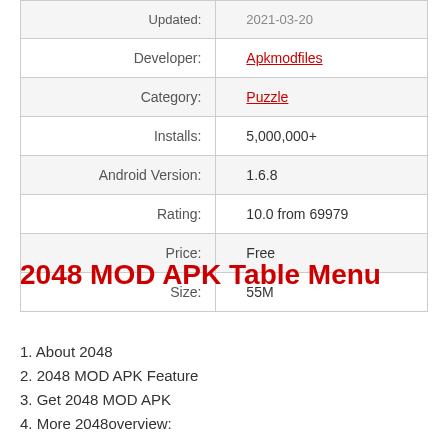| Field | Value |
| --- | --- |
| Updated: | 2021-03-20 |
| Developer: | Apkmodfiles |
| Category: | Puzzle |
| Installs: | 5,000,000+ |
| Android Version: | 1.6.8 |
| Rating: | 10.0 from 69979 |
| Price: | Free |
| Size: | 55M |
2048 MOD APK Table Menu
1. About 2048
2. 2048 MOD APK Feature
3. Get 2048 MOD APK
4. More 2048overview: